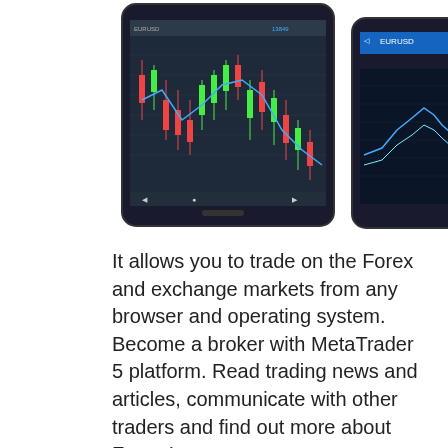[Figure (screenshot): Two smartphone screenshots showing trading platform apps with candlestick/line charts (MetaTrader style forex trading interfaces)]
It allows you to trade on the Forex and exchange markets from any browser and operating system. Become a broker with MetaTrader 5 platform. Read trading news and articles, communicate with other traders and find out more about Forex Learn more. 🔲🔲🔲🔲🔲🔲🔲 state administration State Administration of Foreign Exchange manager will contact you soon. Speculation is the core principle of profiting from Forex — buy low, sell high. Phone number. All you need is an Internet connection. Trade in financial markets via any browser on any operating system Learn more. Country of registration. The Signals service allows you to copy trades of other traders, while the